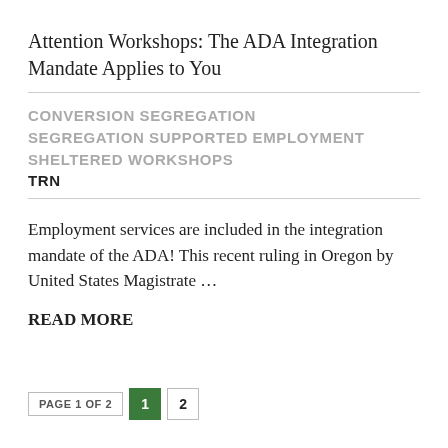Attention Workshops: The ADA Integration Mandate Applies to You
CONVERSION SEGREGATION
SEGREGATION SUPPORTED EMPLOYMENT
SHELTERED WORKSHOPS
TRN
Employment services are included in the integration mandate of the ADA! This recent ruling in Oregon by United States Magistrate …
READ MORE
PAGE 1 OF 2  1  2